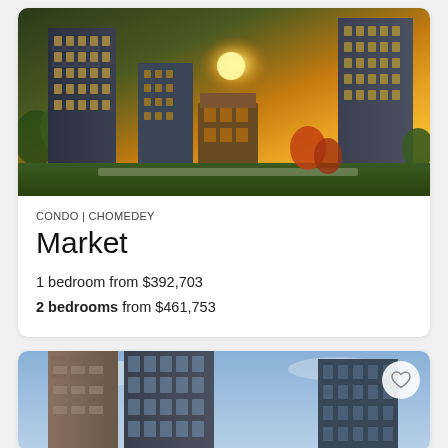[Figure (photo): Aerial/exterior rendering of modern condo towers at sunset with warm golden light, green landscaped grounds below]
CONDO | CHOMEDEY
Market
1 bedroom from $392,703
2 bedrooms from $461,753
[Figure (photo): Exterior rendering of modern condo towers with brick and glass facade under cloudy blue sky, with heart/favorite button overlay]